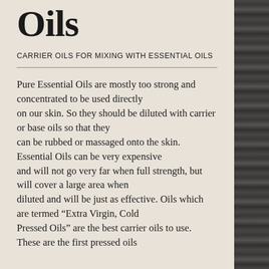Oils
CARRIER OILS FOR MIXING WITH ESSENTIAL OILS
Pure Essential Oils are mostly too strong and concentrated to be used directly on our skin. So they should be diluted with carrier or base oils so that they can be rubbed or massaged onto the skin.  Essential Oils can be very expensive and will not go very far when full strength, but will cover a large area when diluted and will be just as effective. Oils which are termed “Extra Virgin, Cold Pressed Oils” are the best carrier oils to use. These are the first pressed oils